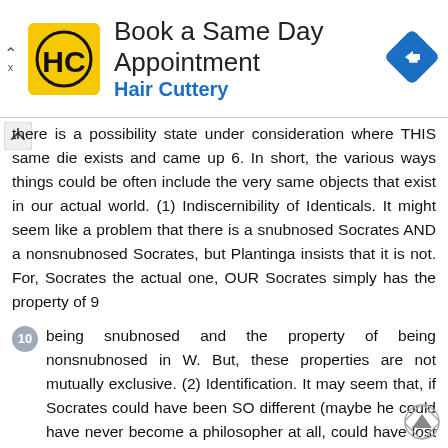[Figure (other): Hair Cuttery advertisement banner with yellow logo showing HC letters, text 'Book a Same Day Appointment' and 'Hair Cuttery' in blue, and a blue diamond-shaped navigation arrow icon on the right.]
there is a possibility state under consideration where THIS same die exists and came up 6. In short, the various ways things could be often include the very same objects that exist in our actual world. (1) Indiscernibility of Identicals. It might seem like a problem that there is a snubnosed Socrates AND a nonsnubnosed Socrates, but Plantinga insists that it is not. For, Socrates the actual one, OUR Socrates simply has the property of 9
10  being snubnosed and the property of being nonsnubnosed in W. But, these properties are not mutually exclusive. (2) Identification. It may seem that, if Socrates could have been SO different (maybe he could have never become a philosopher at all, could have lost a limb, never grown a beard, and so on), then how can we even make sense of the claim that he exists in other worlds? But, this is confused. We do not peer into other worlds. We simply stipulate, I m talking about the situation in which Socrates